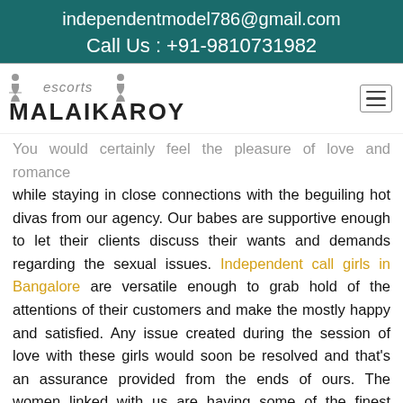independentmodel786@gmail.com
Call Us : +91-9810731982
[Figure (logo): Escorts Malaikaroy logo with two silhouette figures and text]
You would certainly feel the pleasure of love and romance while staying in close connections with the beguiling hot divas from our agency. Our babes are supportive enough to let their clients discuss their wants and demands regarding the sexual issues. Independent call girls in Bangalore are versatile enough to grab hold of the attentions of their customers and make the mostly happy and satisfied. Any issue created during the session of love with these girls would soon be resolved and that's an assurance provided from the ends of ours. The women linked with us are having some of the finest characteristics to enhance the feel of eroticism within each of their customers and urge them for